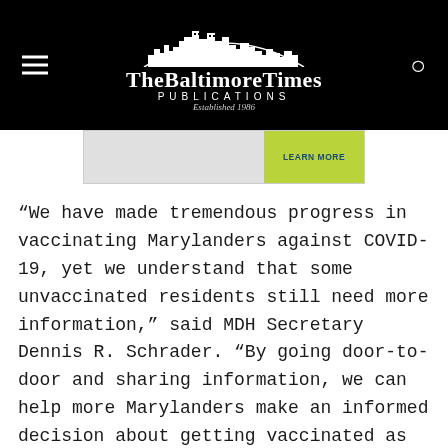The Baltimore Times Publications — Established 1986
[Figure (other): Advertisement banner with green 'LEARN MORE' button]
“We have made tremendous progress in vaccinating Marylanders against COVID-19, yet we understand that some unvaccinated residents still need more information,” said MDH Secretary Dennis R. Schrader. “By going door-to-door and sharing information, we can help more Marylanders make an informed decision about getting vaccinated as we continue our efforts to ensure there is no arm left behind.”